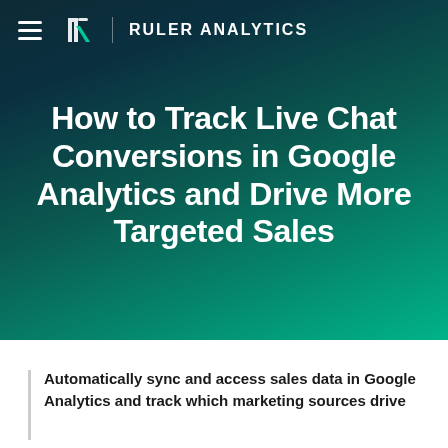RULER ANALYTICS
How to Track Live Chat Conversions in Google Analytics and Drive More Targeted Sales
Automatically sync and access sales data in Google Analytics and track which marketing sources drive